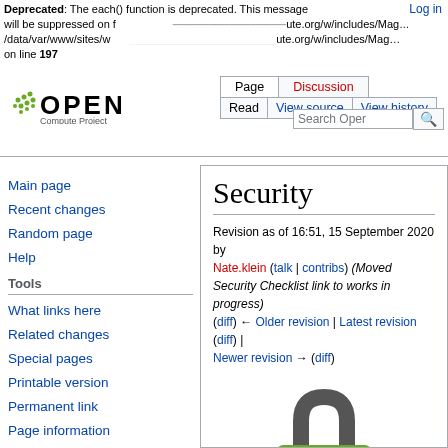Deprecated: The each() function is deprecated. This message will be suppressed on further calls in /data/var/www/sites/w...ute.org/w/includes/Mag... on line 197
Log in
Page | Discussion
Read | View source | View history
Search Open...
[Figure (logo): Open Compute Project logo with green dots and bold OPEN text]
Main page
Recent changes
Random page
Help
Tools
What links here
Related changes
Special pages
Printable version
Permanent link
Page information
Security
Revision as of 16:51, 15 September 2020 by Nate.klein (talk | contribs) (Moved Security Checklist link to works in progress)
(diff) ← Older revision | Latest revision (diff) | Newer revision → (diff)
[Figure (illustration): Green and grey padlock security icon]